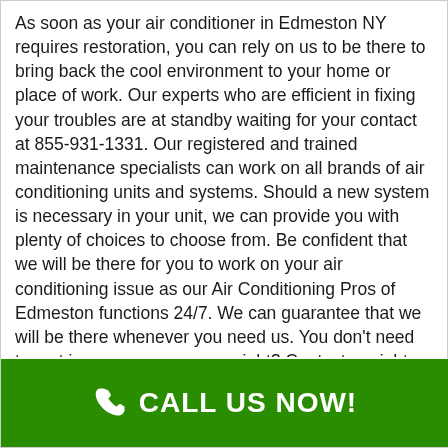As soon as your air conditioner in Edmeston NY requires restoration, you can rely on us to be there to bring back the cool environment to your home or place of work. Our experts who are efficient in fixing your troubles are at standby waiting for your contact at 855-931-1331. Our registered and trained maintenance specialists can work on all brands of air conditioning units and systems. Should a new system is necessary in your unit, we can provide you with plenty of choices to choose from. Be confident that we will be there for you to work on your air conditioning issue as our Air Conditioning Pros of Edmeston functions 24/7. We can guarantee that we will be there whenever you need us. You don't need to rest in a very warm room, right? Contact us right now to get your AC restored so you can rest comfortably this evening.The maintenance services in air-conditioning that we offer are top in the market. This is because of the qualities such as responsibility, teamwork, ethics
[Figure (other): Green call-to-action banner at the bottom with a phone icon and 'CALL US NOW!' text in white bold font on a green background.]